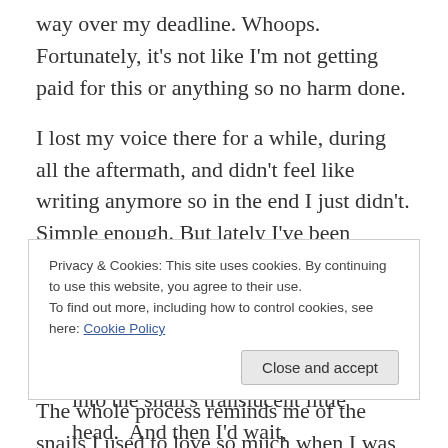way over my deadline. Whoops. Fortunately, it's not like I'm not getting paid for this or anything so no harm done.
I lost my voice there for a while, during all the aftermath, and didn't feel like writing anymore so in the end I just didn't. Simple enough. But lately I've been getting the niggle again, to express myself in this lovely, endlessly adaptable language we all share, which both surprises and, I admit, relieves me.
The whole process reminds me of the snails I used to love so much when I was growing up. How I'd place one on the
Privacy & Cookies: This site uses cookies. By continuing to use this website, you agree to their use.
To find out more, including how to control cookies, see here: Cookie Policy
into the snail's translucent little head.  And then I'd wait,